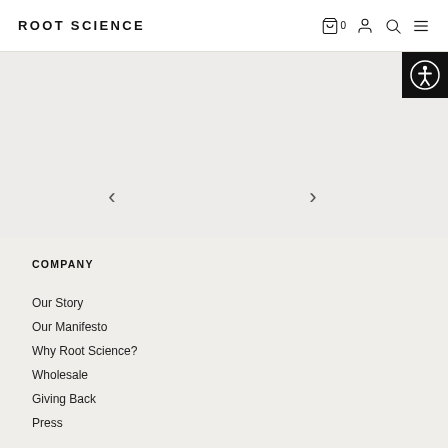ROOT SCIENCE
[Figure (other): Website navigation header with ROOT SCIENCE logo on left, and icons (shopping bag with count 0, user, search, hamburger menu) on right]
[Figure (other): Image slider area with left chevron arrow and right chevron arrow navigation controls]
[Figure (other): Accessibility button with person/wheelchair icon on black background, positioned top-right of slider]
COMPANY
Our Story
Our Manifesto
Why Root Science?
Wholesale
Giving Back
Press